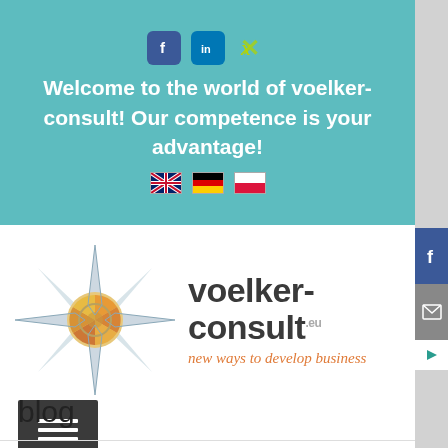Welcome to the world of voelker-consult! Our competence is your advantage!
[Figure (logo): Voelker-Consult logo with compass star and tagline 'new ways to develop business']
[Figure (other): Hamburger menu button (three horizontal lines on dark background)]
blog